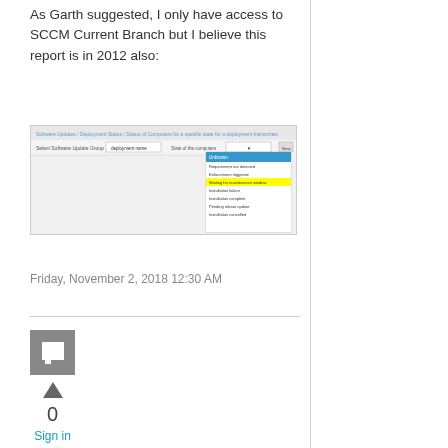As Garth suggested, I only have access to SCCM Current Branch but I believe this report is in 2012 also:
[Figure (screenshot): Screenshot of a software interface showing a dropdown menu or list with items highlighted in blue and yellow, appearing to be an SCCM report interface.]
Friday, November 2, 2018 12:30 AM
[Figure (other): Grey square icon with a chat/comment symbol (speech bubble with a square inside)]
0
Sign in to vote